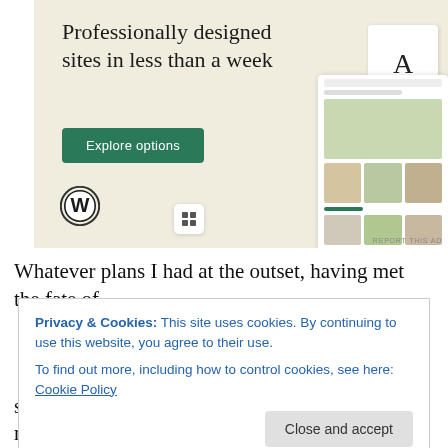[Figure (illustration): WordPress advertisement banner with beige background, large text 'Professionally designed sites in less than a week', a green 'Explore options' button, WordPress logo, and mockup screenshots of websites on the right side.]
Whatever plans I had at the outset, having met the fate of
Privacy & Cookies: This site uses cookies. By continuing to use this website, you agree to their use.
To find out more, including how to control cookies, see here: Cookie Policy
Close and accept
sheets into the wind, our old friend John Daniel's made a